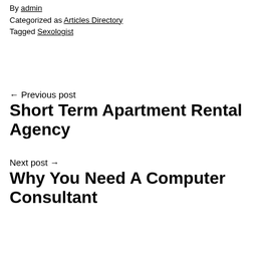By admin
Categorized as Articles Directory
Tagged Sexologist
← Previous post
Short Term Apartment Rental Agency
Next post →
Why You Need A Computer Consultant